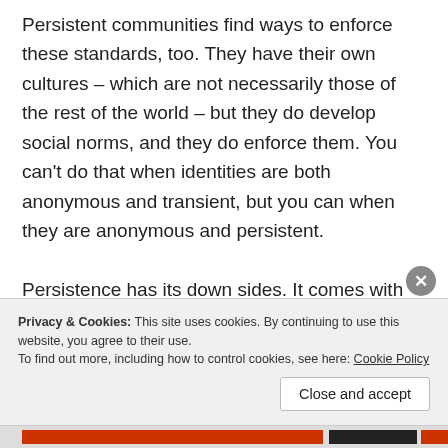Persistent communities find ways to enforce these standards, too. They have their own cultures – which are not necessarily those of the rest of the world – but they do develop social norms, and they do enforce them. You can't do that when identities are both anonymous and transient, but you can when they are anonymous and persistent.

Persistence has its down sides. It comes with technical and usability connotations which aren't right for all situations. But it is an important middle
Privacy & Cookies: This site uses cookies. By continuing to use this website, you agree to their use.
To find out more, including how to control cookies, see here: Cookie Policy
Close and accept